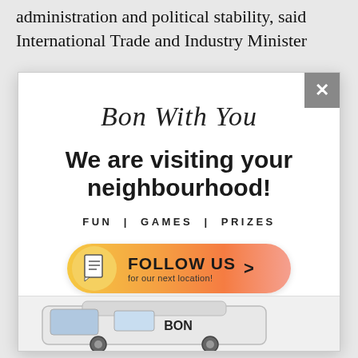administration and political stability, said International Trade and Industry Minister
[Figure (infographic): Popup advertisement for 'Bon With You' campaign. Features script title 'Bon With You', bold headline 'We are visiting your neighbourhood!', subheading 'FUN | GAMES | PRIZES', and a gradient orange follow button saying 'FOLLOW US > for our next location!'. A close (X) button appears in the top-right corner. Bottom of popup shows partial image of a van.]